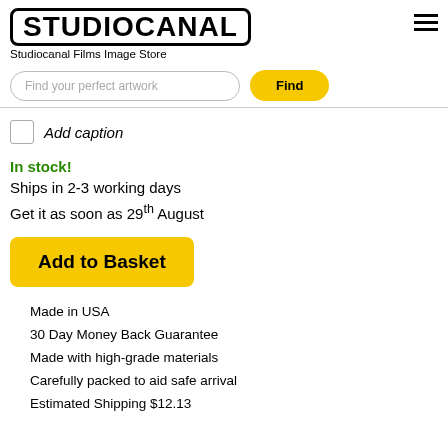[Figure (logo): Studiocanal logo in bold black text inside a rounded rectangle border]
Studiocanal Films Image Store
Find your perfect artwork
Find
Add caption
In stock!
Ships in 2-3 working days
Get it as soon as 29th August
Add to Basket
Made in USA
30 Day Money Back Guarantee
Made with high-grade materials
Carefully packed to aid safe arrival
Estimated Shipping $12.13